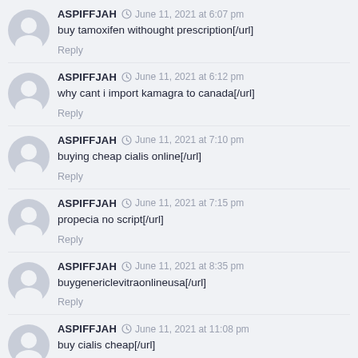ASPIFFJAH • June 11, 2021 at 6:07 pm
buy tamoxifen withought prescription[/url]
Reply
ASPIFFJAH • June 11, 2021 at 6:12 pm
why cant i import kamagra to canada[/url]
Reply
ASPIFFJAH • June 11, 2021 at 7:10 pm
buying cheap cialis online[/url]
Reply
ASPIFFJAH • June 11, 2021 at 7:15 pm
propecia no script[/url]
Reply
ASPIFFJAH • June 11, 2021 at 8:35 pm
buygenericlevitraonlineusa[/url]
Reply
ASPIFFJAH • June 11, 2021 at 11:08 pm
buy cialis cheap[/url]